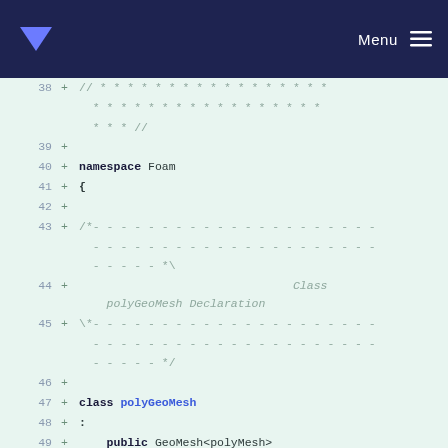Menu
Code diff view showing lines 38-50 of a C++ header file declaring namespace Foam and class polyGeoMesh : public GeoMesh<polyMesh>